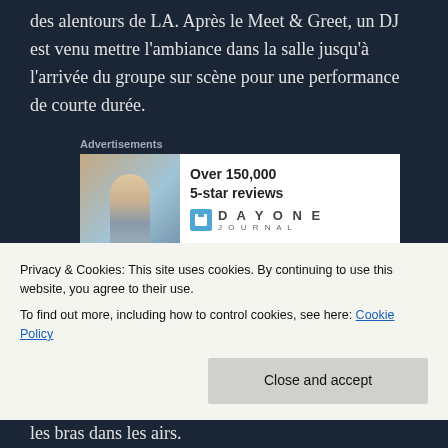des alentours de LA. Après le Meet & Greet, un DJ est venu mettre l'ambiance dans la salle jusqu'à l'arrivée du groupe sur scène pour une performance de courte durée.
[Figure (other): Advertisement banner for Day One Journal app showing 'Over 150,000 5-star reviews' with image of person on hilltop]
Tom Kaulitz, Georg Listing et Gustav Schafer étaient assis, jouant un mélange d'instruments électriques et acoustiques. Le concert a commencé avec le frontman Bill Kaulitz et le titre
Privacy & Cookies: This site uses cookies. By continuing to use this website, you agree to their use.
To find out more, including how to control cookies, see here: Cookie Policy
les bras dans les airs.